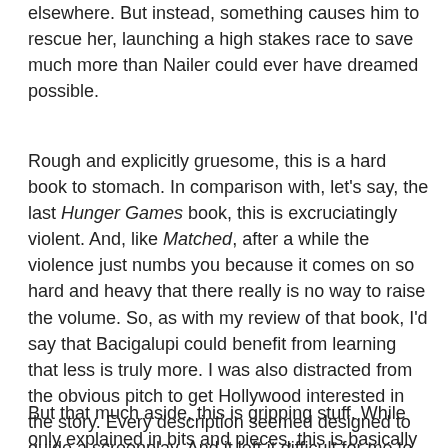elsewhere. But instead, something causes him to rescue her, launching a high stakes race to save much more than Nailer could ever have dreamed possible.
Rough and explicitly gruesome, this is a hard book to stomach. In comparison with, let's say, the last Hunger Games book, this is excruciatingly violent. And, like Matched, after a while the violence just numbs you because it comes on so hard and heavy that there really is no way to raise the volume. So, as with my review of that book, I'd say that Bacigalupi could benefit from learning that less is truly more. I was also distracted from the obvious pitch to get Hollywood interested in the story. Every description seemed designed to guide a screenplay. And it left it difficult for me to enjoy the story as a novel.
But that much aside, this is gripping stuff. While only explained in bits and pieces, this is basically a post-global